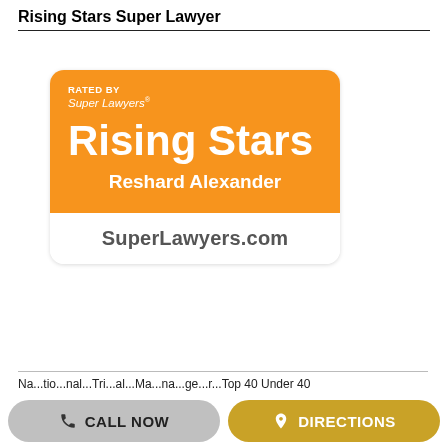Rising Stars Super Lawyer
[Figure (logo): Super Lawyers badge: orange rounded rectangle with 'RATED BY Super Lawyers' at top, large 'Rising Stars' text, 'Reshard Alexander' name, and white footer with 'SuperLawyers.com']
Na...tio...nal...Tri...al...Ma...na...ge...r...Top 40 Under 40
CALL NOW
DIRECTIONS